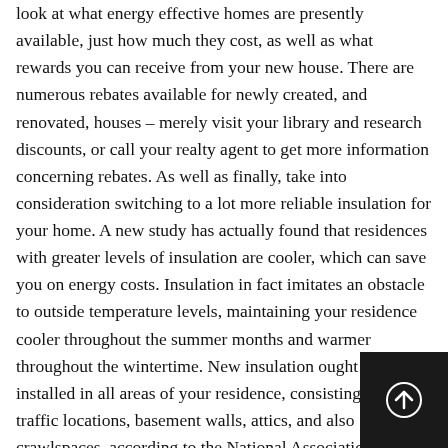look at what energy effective homes are presently available, just how much they cost, as well as what rewards you can receive from your new house. There are numerous rebates available for newly created, and renovated, houses – merely visit your library and research discounts, or call your realty agent to get more information concerning rebates. As well as finally, take into consideration switching to a lot more reliable insulation for your home. A new study has actually found that residences with greater levels of insulation are cooler, which can save you on energy costs. Insulation in fact imitates an obstacle to outside temperature levels, maintaining your residence cooler throughout the summer months and warmer throughout the wintertime. New insulation ought to be installed in all areas of your residence, consisting of high traffic locations, basement walls, attics, and also crawlspaces, according to the National Association of Residence Inspectors. This is one action that can make a difference in your power bill as well as on the atmosphere.